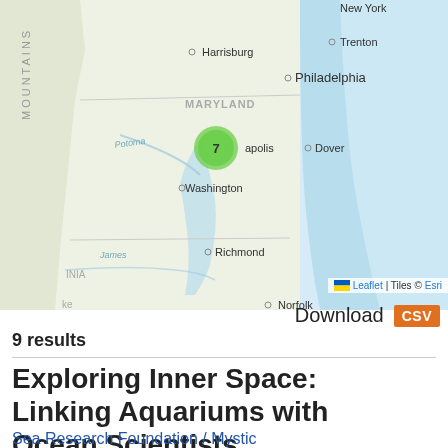[Figure (map): Interactive Leaflet map showing the US Mid-Atlantic region (Maryland, Virginia, Pennsylvania area) with a green cluster marker labeled '7' near Annapolis/Washington DC area. Cities labeled: Harrisburg, Trenton, Philadelphia, Dover, Washington, Richmond, Norfolk. Map attributed to Leaflet and Esri tiles.]
Download CSV
9 results
Exploring Inner Space: Linking Aquariums with Ocean Scientists
Sea Research Foundation / Mystic